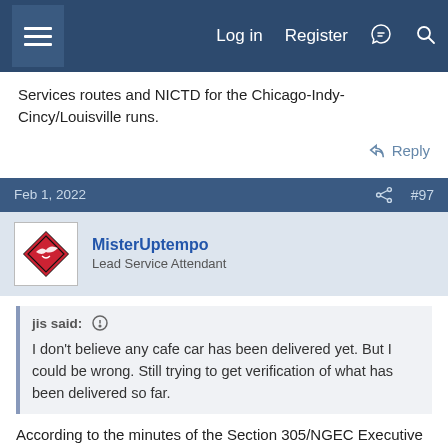Log in  Register
Services routes and NICTD for the Chicago-Indy-Cincy/Louisville runs.
↩ Reply
Feb 1, 2022   #97
MisterUptempo
Lead Service Attendant
jis said: ⊕
I don't believe any cafe car has been delivered yet. But I could be wrong. Still trying to get verification of what has been delivered so far.
According to the minutes of the Section 305/NGEC Executive Board meeting of January 25th, the following
IDOT Café Car FDRs are in the closure stage and